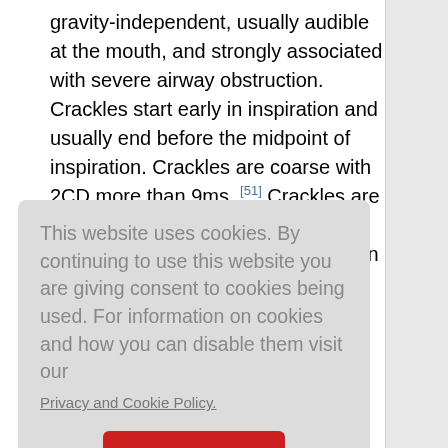gravity-independent, usually audible at the mouth, and strongly associated with severe airway obstruction. Crackles start early in inspiration and usually end before the midpoint of inspiration. Crackles are coarse with 2CD more than 9ms. [51] Crackles are usually due to airway secretions within large airway, and disappear on coughing. Sometimes, crackles may be heard in both phases of respiration. It is probably related to sequential closing and opening of proximal
This website uses cookies. By continuing to use this website you are giving consent to cookies being used. For information on cookies and how you can disable them visit our
Privacy and Cookie Policy.
AGREE & PROCEED
inspiration unlike crackles in idiopathic